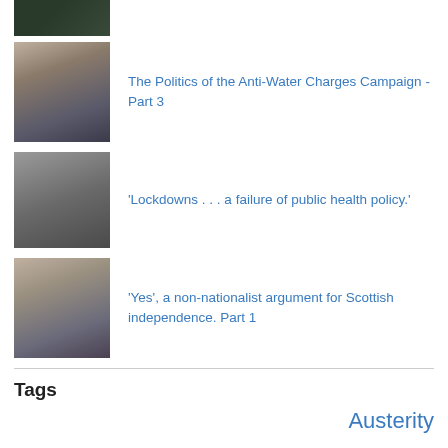[Figure (photo): Top partial thumbnail of people at a protest, dark tones]
[Figure (photo): Thumbnail of protest signs reading NO CHARGES]
The Politics of the Anti-Water Charges Campaign - Part 3
[Figure (photo): Thumbnail of a bleak urban street scene]
'Lockdowns . . . a failure of public health policy.'
[Figure (photo): Thumbnail of an elderly man with a white beard]
'Yes', a non-nationalist argument for Scottish independence. Part 1
Tags
Austerity